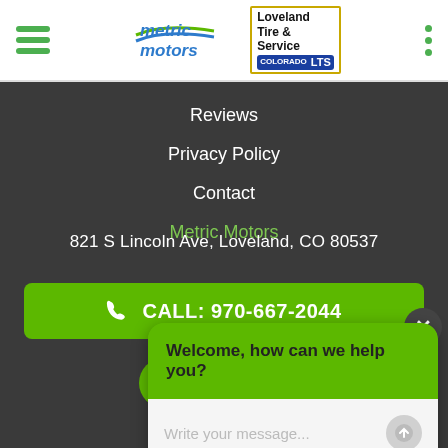[Figure (logo): Metric Motors and Loveland Tire & Service logos in white header bar with hamburger menu and three dots]
Reviews
Privacy Policy
Contact
Metric Motors
821 S Lincoln Ave, Loveland, CO 80537
CALL: 970-667-2044
[Figure (infographic): Social media icons: Facebook, Twitter, Google Plus in green circles]
Welcome, how can we help you?
Write your message...